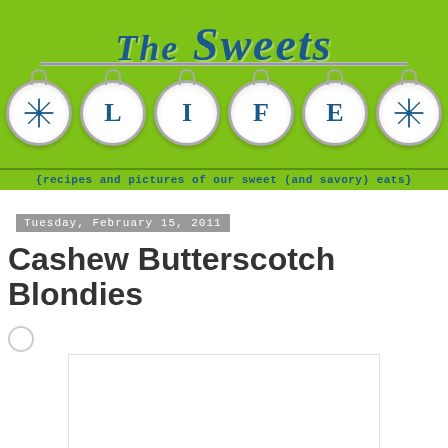[Figure (logo): The Sweets Life blog header logo with green background, decorative hanging ornaments spelling LIFE, and subtitle text]
Tuesday, February 15, 2011
Cashew Butterscotch Blondies
[Figure (photo): Food photograph placeholder, white rectangle with border]